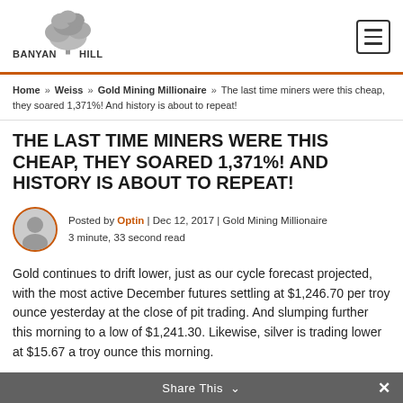[Figure (logo): Banyan Hill logo with tree graphic and text 'BANYAN HILL']
Home » Weiss » Gold Mining Millionaire » The last time miners were this cheap, they soared 1,371%! And history is about to repeat!
THE LAST TIME MINERS WERE THIS CHEAP, THEY SOARED 1,371%! AND HISTORY IS ABOUT TO REPEAT!
Posted by Optin | Dec 12, 2017 | Gold Mining Millionaire
3 minute, 33 second read
Gold continues to drift lower, just as our cycle forecast projected, with the most active December futures settling at $1,246.70 per troy ounce yesterday at the close of pit trading. And slumping further this morning to a low of $1,241.30. Likewise, silver is trading lower at $15.67 a troy ounce this morning.
Share This ∨